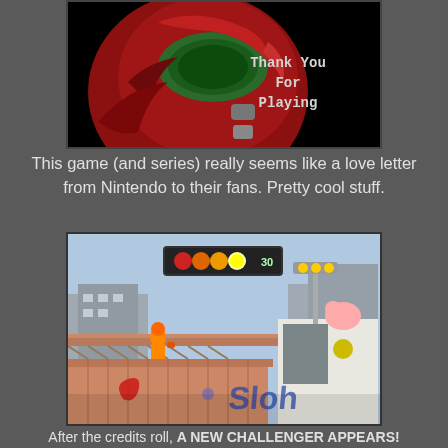[Figure (screenshot): Game screenshot showing Samus's helmet in red/green armor with text 'Thank You For Playing' on black background]
This game (and series) really seems like a love letter from Nintendo to their fans. Pretty cool stuff.
[Figure (screenshot): Super Smash Bros screenshot showing Samus character on a city stage platform with a stock counter showing 3 red/orange orbs and 1 bright orb, 'Sloh' branding text visible]
After the credits roll, A NEW CHALLENGER APPEARS!